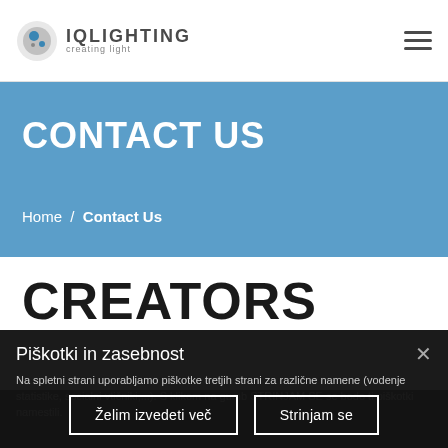IQLIGHTING creating light
CONTACT US
Home / Contact Us
CREATORS
Piškotki in zasebnost
Na spletni strani uporabljamo piškotke tretjih strani za različne namene (vodenje statistike, socialni vtičniki,...). S klikom na gumb STRINJAM SE se bodo ti piškotki namestili.
Želim izvedeti več
Strinjam se